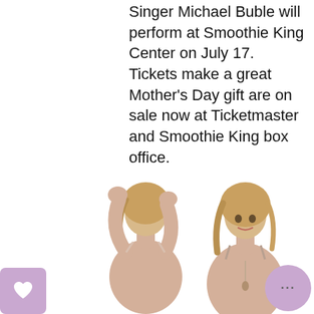Singer Michael Buble will perform at Smoothie King Center on July 17. Tickets make a great Mother's Day gift are on sale now at Ticketmaster and Smoothie King box office.
[Figure (photo): Two blonde women modeling a beige/nude camisole garment, one shown from the back with arms raised, one shown from the front facing the camera.]